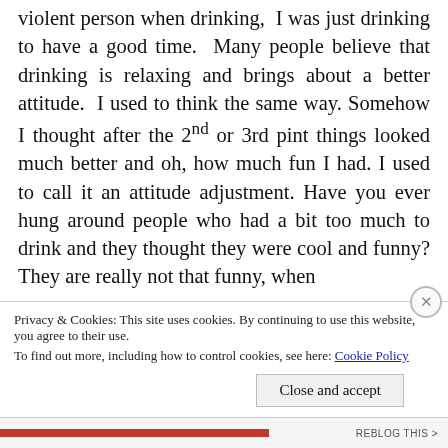violent person when drinking, I was just drinking to have a good time. Many people believe that drinking is relaxing and brings about a better attitude. I used to think the same way. Somehow I thought after the 2nd or 3rd pint things looked much better and oh, how much fun I had. I used to call it an attitude adjustment. Have you ever hung around people who had a bit too much to drink and they thought they were cool and funny? They are really not that funny, when
Privacy & Cookies: This site uses cookies. By continuing to use this website, you agree to their use.
To find out more, including how to control cookies, see here: Cookie Policy
Close and accept